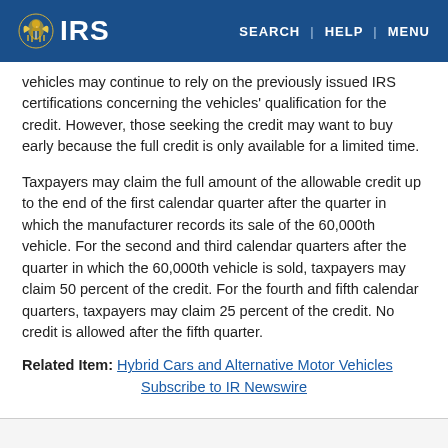IRS — SEARCH | HELP | MENU
vehicles may continue to rely on the previously issued IRS certifications concerning the vehicles' qualification for the credit. However, those seeking the credit may want to buy early because the full credit is only available for a limited time.
Taxpayers may claim the full amount of the allowable credit up to the end of the first calendar quarter after the quarter in which the manufacturer records its sale of the 60,000th vehicle. For the second and third calendar quarters after the quarter in which the 60,000th vehicle is sold, taxpayers may claim 50 percent of the credit. For the fourth and fifth calendar quarters, taxpayers may claim 25 percent of the credit. No credit is allowed after the fifth quarter.
Related Item: Hybrid Cars and Alternative Motor Vehicles
Subscribe to IR Newswire